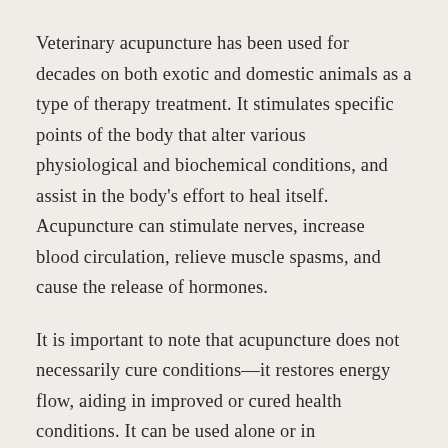Veterinary acupuncture has been used for decades on both exotic and domestic animals as a type of therapy treatment. It stimulates specific points of the body that alter various physiological and biochemical conditions, and assist in the body's effort to heal itself. Acupuncture can stimulate nerves, increase blood circulation, relieve muscle spasms, and cause the release of hormones.
It is important to note that acupuncture does not necessarily cure conditions—it restores energy flow, aiding in improved or cured health conditions. It can be used alone or in combination with other medications recommended.
Acupuncture Protocol